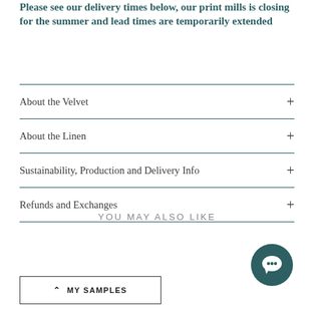Please see our delivery times below, our print mills is closing for the summer and lead times are temporarily extended
About the Velvet +
About the Linen +
Sustainability, Production and Delivery Info +
Refunds and Exchanges +
YOU MAY ALSO LIKE
[Figure (other): Circular teal chat button icon with white speech bubble]
MY SAMPLES